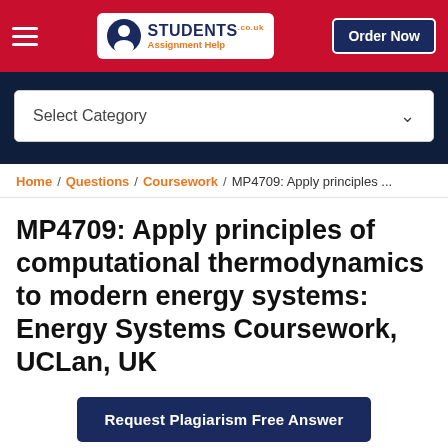[Figure (screenshot): Website navigation bar with hamburger menu, Students Assignment Help logo, and Order Now button on red background]
[Figure (screenshot): Dark navy search dropdown area with Select Category dropdown box]
Home / Questions / Coursework / MP4709: Apply principles ...
MP4709: Apply principles of computational thermodynamics to modern energy systems: Energy Systems Coursework, UCLan, UK
Request Plagiarism Free Answer